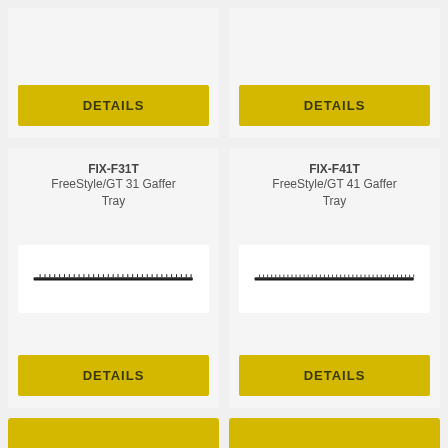[Figure (other): Top-left card showing a DETAILS button, partially visible product card]
[Figure (other): Top-right card showing a DETAILS button, partially visible product card]
FIX-F31T
FreeStyle/GT 31 Gaffer Tray
[Figure (photo): FIX-F31T FreeStyle/GT 31 Gaffer Tray product image - thin elongated tray]
DETAILS
FIX-F41T
FreeStyle/GT 41 Gaffer Tray
[Figure (photo): FIX-F41T FreeStyle/GT 41 Gaffer Tray product image - thin elongated tray]
DETAILS
[Figure (other): Bottom-left card partially visible]
[Figure (other): Bottom-right card partially visible]